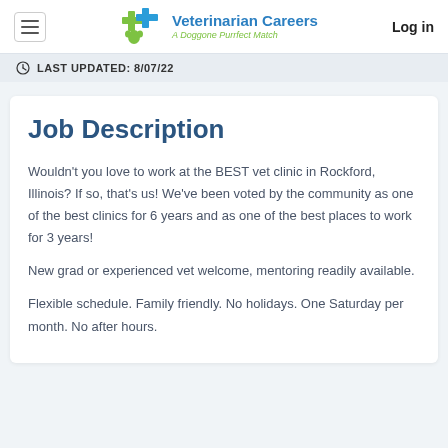Veterinarian Careers — A Doggone Purrfect Match | Log in
LAST UPDATED: 8/07/22
Job Description
Wouldn't you love to work at the BEST vet clinic in Rockford, Illinois? If so, that's us! We've been voted by the community as one of the best clinics for 6 years and as one of the best places to work for 3 years!
New grad or experienced vet welcome, mentoring readily available.
Flexible schedule. Family friendly. No holidays. One Saturday per month. No after hours.